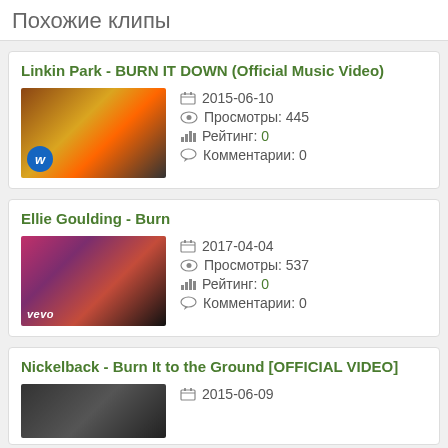Похожие клипы
Linkin Park - BURN IT DOWN (Official Music Video)
2015-06-10
Просмотры: 445
Рейтинг: 0
Комментарии: 0
Ellie Goulding - Burn
2017-04-04
Просмотры: 537
Рейтинг: 0
Комментарии: 0
Nickelback - Burn It to the Ground [OFFICIAL VIDEO]
2015-06-09